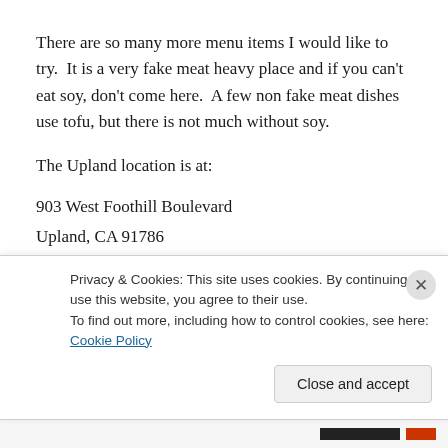There are so many more menu items I would like to try.  It is a very fake meat heavy place and if you can't eat soy, don't come here.  A few non fake meat dishes use tofu, but there is not much without soy.
The Upland location is at:
903 West Foothill Boulevard
Upland, CA 91786
909-982-3882
Privacy & Cookies: This site uses cookies. By continuing to use this website, you agree to their use.
To find out more, including how to control cookies, see here: Cookie Policy
Close and accept